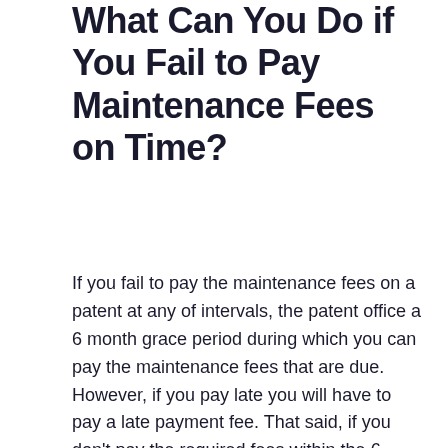What Can You Do if You Fail to Pay Maintenance Fees on Time?
If you fail to pay the maintenance fees on a patent at any of intervals, the patent office a 6 month grace period during which you can pay the maintenance fees that are due. However, if you pay late you will have to pay a late payment fee. That said, if you don't pay the required fees within the 6 month grace period, you will have to file a patent reinstatement petition to reinstate your